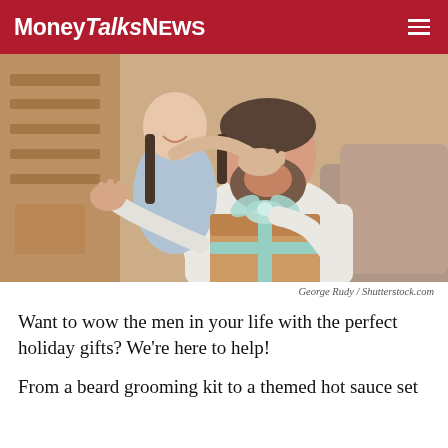MoneyTalksNews
[Figure (photo): A young girl covering a bearded man's eyes with her hands while he holds a wrapped gift box with a teal ribbon and bow. They are sitting in a living room setting. Photo by George Rudy / Shutterstock.com]
George Rudy / Shutterstock.com
Want to wow the men in your life with the perfect holiday gifts? We're here to help!
From a beard grooming kit to a themed hot sauce set